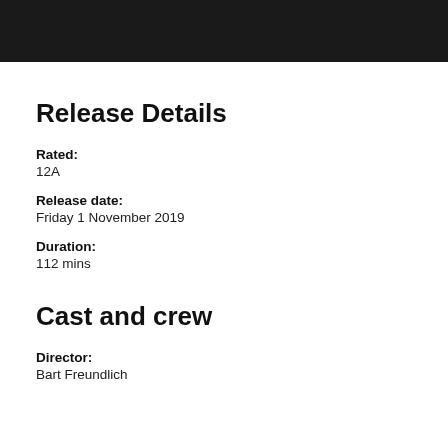Release Details
Rated:
12A
Release date:
Friday 1 November 2019
Duration:
112 mins
Cast and crew
Director:
Bart Freundlich